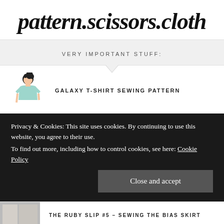pattern.scissors.cloth
VERY IMPORTANT STUFF:
GALAXY T-SHIRT SEWING PATTERN
Privacy & Cookies: This site uses cookies. By continuing to use this website, you agree to their use.
To find out more, including how to control cookies, see here: Cookie Policy
Close and accept
THE RUBY SLIP #5 – SEWING THE BIAS SKIRT